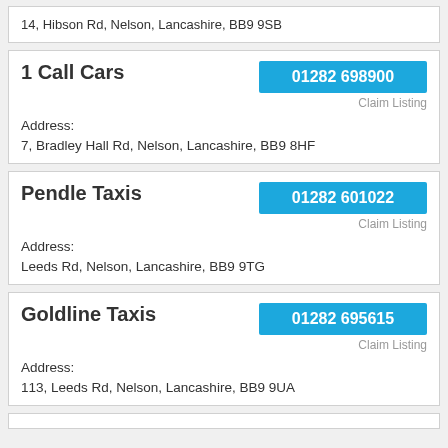14, Hibson Rd, Nelson, Lancashire, BB9 9SB
1 Call Cars | 01282 698900 | Claim Listing | Address: | 7, Bradley Hall Rd, Nelson, Lancashire, BB9 8HF
Pendle Taxis | 01282 601022 | Claim Listing | Address: | Leeds Rd, Nelson, Lancashire, BB9 9TG
Goldline Taxis | 01282 695615 | Claim Listing | Address: | 113, Leeds Rd, Nelson, Lancashire, BB9 9UA